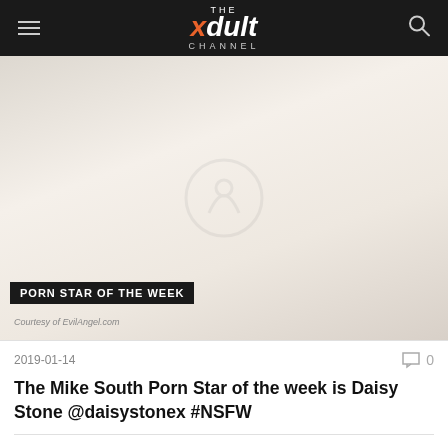THE xdult CHANNEL
[Figure (photo): A woman posing on all fours on a white background, wearing blue underwear and white heels, with long blonde hair, smiling at camera.]
PORN STAR OF THE WEEK
Courtesy of EvilAngel.com
2019-01-14
0
The Mike South Porn Star of the week is Daisy Stone @daisystonex #NSFW